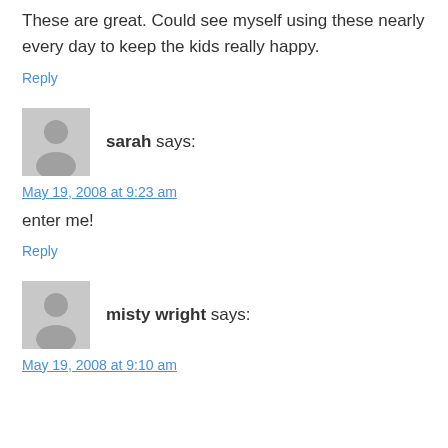These are great. Could see myself using these nearly every day to keep the kids really happy.
Reply
[Figure (illustration): Generic user avatar placeholder - grey silhouette of a person on grey background]
sarah says:
May 19, 2008 at 9:23 am
enter me!
Reply
[Figure (illustration): Generic user avatar placeholder - grey silhouette of a person on grey background]
misty wright says:
May 19, 2008 at 9:10 am